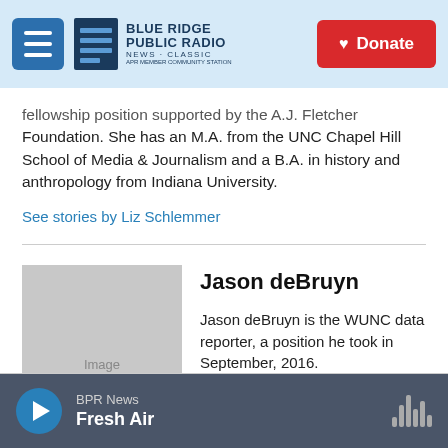Blue Ridge Public Radio — Donate
fellowship position supported by the A.J. Fletcher Foundation. She has an M.A. from the UNC Chapel Hill School of Media & Journalism and a B.A. in history and anthropology from Indiana University.
See stories by Liz Schlemmer
[Figure (photo): Placeholder image for Jason deBruyn]
Jason deBruyn
Jason deBruyn is the WUNC data reporter, a position he took in September, 2016.
See stories by Jason deBruyn
BPR News — Fresh Air